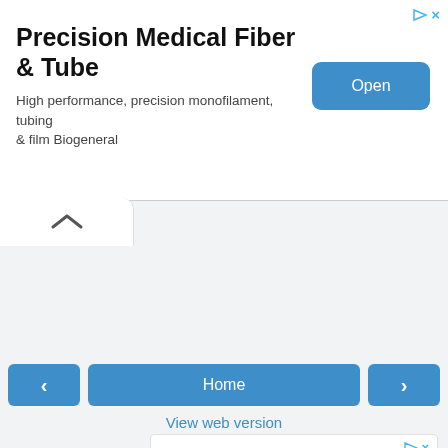[Figure (screenshot): Top advertisement banner for 'Precision Medical Fiber & Tube' with title, subtitle text 'High performance, precision monofilament, tubing & film Biogeneral', and a blue 'Open' button. Has ad icons (play triangle and X) in top right corner.]
[Figure (screenshot): Navigation UI area with a white rounded tab containing an up-chevron (collapse arrow), three navigation buttons (left arrow, Home, right arrow), and a 'View web version' link in blue.]
[Figure (screenshot): Second advertisement for 'China Casting Machinery' with a gear/ribbon logo (INNOVAW brand), body text 'We can provide you with the following metal casting technology', company name 'INNOVAW', and a 'Open' button with red text and red border.]